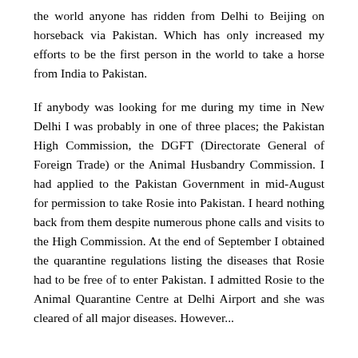the world anyone has ridden from Delhi to Beijing on horseback via Pakistan. Which has only increased my efforts to be the first person in the world to take a horse from India to Pakistan.
If anybody was looking for me during my time in New Delhi I was probably in one of three places; the Pakistan High Commission, the DGFT (Directorate General of Foreign Trade) or the Animal Husbandry Commission. I had applied to the Pakistan Government in mid-August for permission to take Rosie into Pakistan. I heard nothing back from them despite numerous phone calls and visits to the High Commission. At the end of September I obtained the quarantine regulations listing the diseases that Rosie had to be free of to enter Pakistan. I admitted Rosie to the Animal Quarantine Centre at Delhi Airport and she was cleared of all major diseases. However...